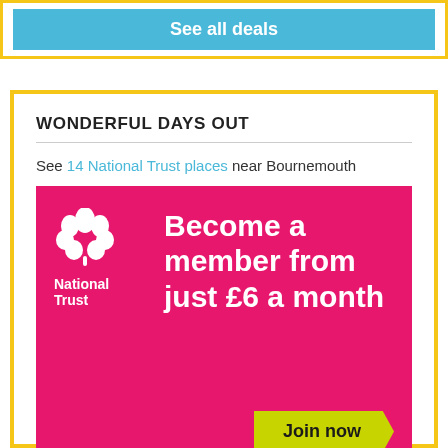See all deals
WONDERFUL DAYS OUT
See 14 National Trust places near Bournemouth
[Figure (infographic): National Trust advertisement: pink/magenta background with white oak leaf logo and 'National Trust' text on left, large white text 'Become a member from just £6 a month' on right, yellow-green arrow-shaped button 'Join now' at bottom right.]